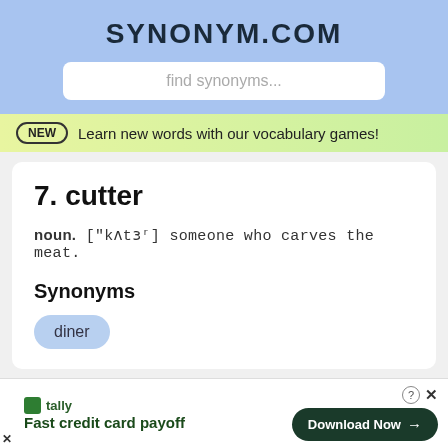SYNONYM.COM
find synonyms...
NEW  Learn new words with our vocabulary games!
7. cutter
noun. ["kʌtɜʳ] someone who carves the meat.
Synonyms
diner
Tally  Fast credit card payoff   Download Now